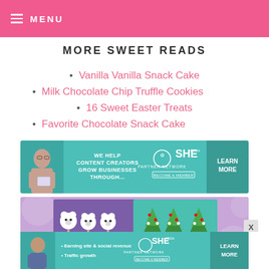MENU
MORE SWEET READS
Vanilla Vanilla Snack Cake
Milk Chocolate Chip Truffle Cookies
16 Sweet Easter Treats
Favorite Chocolate Snack Cake
[Figure (screenshot): SHE Media Partner Network advertisement banner — 'We help content creators grow businesses through...' with Learn More button]
[Figure (photo): Image of candy/treat products — polar bear cake pops on left (purple box) and Christmas tree cake pops on right (teal box) on a purple polka dot background]
[Figure (screenshot): SHE Media Partner Network advertisement banner at bottom — 'Earning site & social revenue' and 'Traffic growth' with Learn More button]